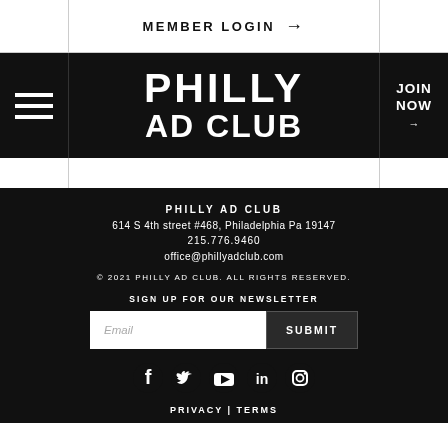MEMBER LOGIN →
PHILLY AD CLUB
PHILLY AD CLUB
614 S 4th street #468, Philadelphia Pa 19147
215.776.9460
office@phillyadclub.com
© 2021 PHILLY AD CLUB. ALL RIGHTS RESERVED.
SIGN UP FOR OUR NEWSLETTER
Email | SUBMIT
[Figure (infographic): Social media icons: Facebook, Twitter, YouTube, LinkedIn, Instagram]
PRIVACY | TERMS